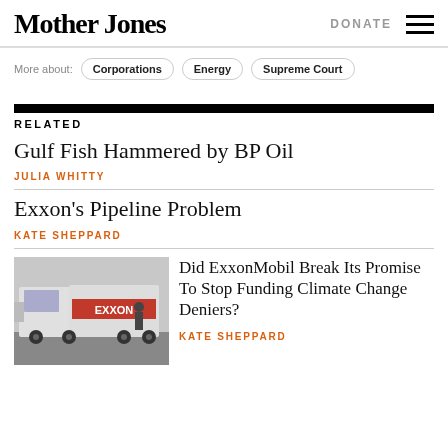Mother Jones | DONATE
More about: Corporations | Energy | Supreme Court
RELATED
Gulf Fish Hammered by BP Oil
JULIA WHITTY
Exxon's Pipeline Problem
KATE SHEPPARD
[Figure (photo): Exxon fuel truck with worker]
Did ExxonMobil Break Its Promise To Stop Funding Climate Change Deniers?
KATE SHEPPARD